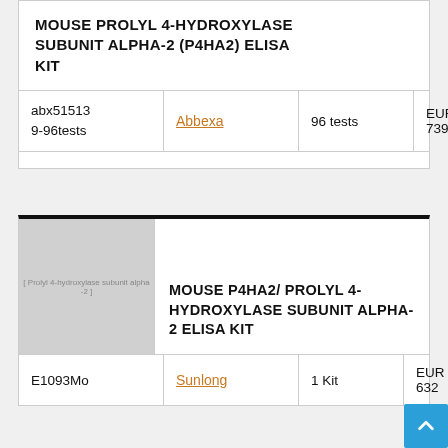| Product | Brand | Quantity | Price |
| --- | --- | --- | --- |
| MOUSE PROLYL 4-HYDROXYLASE SUBUNIT ALPHA-2 (P4HA2) ELISA KIT |  |  |  |
| abx51513
9-96tests | Abbexa | 96 tests | EUR 739 |
[Figure (photo): Gray placeholder image for Mouse P4HA2 Prolyl 4-Hydroxylase Subunit Alpha-2 ELISA Kit product]
| Product | Brand | Quantity | Price |
| --- | --- | --- | --- |
| MOUSE P4HA2/ PROLYL 4-HYDROXYLASE SUBUNIT ALPHA-2 ELISA KIT |  |  |  |
| E1093Mo | Sunlong | 1 Kit | EUR 632 |